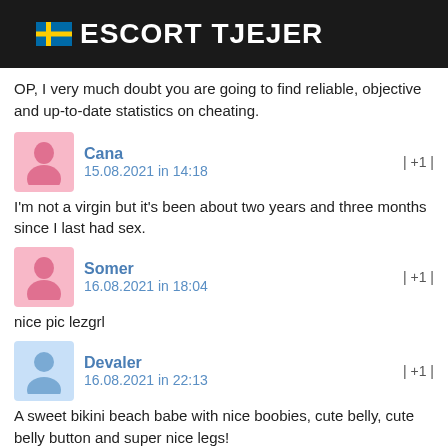ESCORT TJEJER
OP, I very much doubt you are going to find reliable, objective and up-to-date statistics on cheating.
Cana
15.08.2021 in 14:18
| +1 |
I'm not a virgin but it's been about two years and three months since I last had sex.
Somer
16.08.2021 in 18:04
| +1 |
nice pic lezgrl
Devaler
16.08.2021 in 22:13
| +1 |
A sweet bikini beach babe with nice boobies, cute belly, cute belly button and super nice legs!
Ikebana
17.08.2021 in 17:00
Srisudha (24), Eksjö, escort tjej